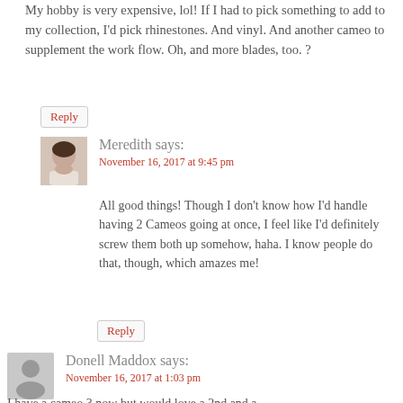My hobby is very expensive, lol! If I had to pick something to add to my collection, I'd pick rhinestones. And vinyl. And another cameo to supplement the work flow. Oh, and more blades, too. ?
Reply
Meredith says:
November 16, 2017 at 9:45 pm
All good things! Though I don't know how I'd handle having 2 Cameos going at once, I feel like I'd definitely screw them both up somehow, haha. I know people do that, though, which amazes me!
Reply
Donell Maddox says:
November 16, 2017 at 1:03 pm
I have a cameo 3 now but would love a 2nd and a